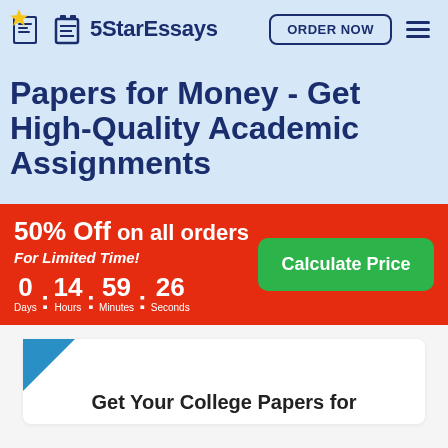5StarEssays
Papers for Money - Get High-Quality Academic Assignments
50% Off on all orders For Limited Time! 0 : 14 : 59 : 26 Days Hours Minutes Seconds
Calculate Price
Get Your College Papers for